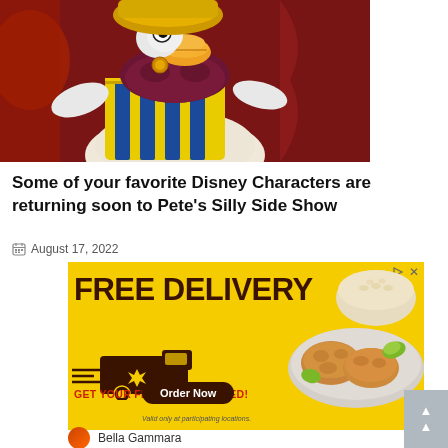[Figure (photo): Donald Duck character in elaborate colorful circus/sideshow costume with maroon scarf, yellow/blue striped garment, at Pete's Silly Side Show]
Some of your favorite Disney Characters are returning soon to Pete's Silly Side Show
August 17, 2022
[Figure (other): Advertisement banner: FREE DELIVERY - GET YOUR FLAVOR DELIVERED! Order Now. Valid only at participating locations. Shows delivery truck graphic and fried chicken food photo on yellow background.]
Bella Gammara